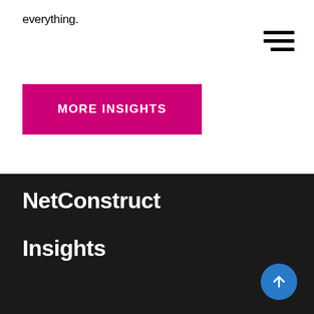everything.
[Figure (other): Hamburger menu icon with three horizontal lines, right-aligned]
MORE INSIGHTS
NetConstruct
Insights
[Figure (other): Scroll to top button — blue circle with upward arrow]